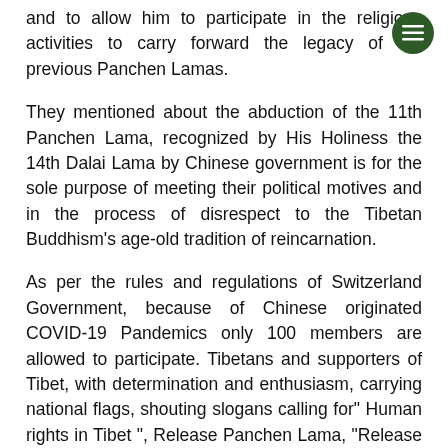and to allow him to participate in the religious activities to carry forward the legacy of the previous Panchen Lamas.
They mentioned about the abduction of the 11th Panchen Lama, recognized by His Holiness the 14th Dalai Lama by Chinese government is for the sole purpose of meeting their political motives and in the process of disrespect to the Tibetan Buddhism's age-old tradition of reincarnation.
As per the rules and regulations of Switzerland Government, because of Chinese originated COVID-19 Pandemics only 100 members are allowed to participate. Tibetans and supporters of Tibet, with determination and enthusiasm, carrying national flags, shouting slogans calling for" Human rights in Tibet ", Release Panchen Lama, "Release of all political prisoners" "Make China accountable for COVID-19", "Let the Dalai Lama return to Tibet "World leaders, break up your Silence" among other slogans highlighted the release of 11th Panchen Lama and the deteriorating human rights situation in Tibet.